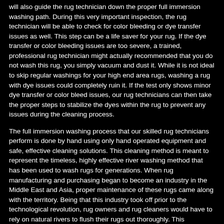will also guide the rug technician down the proper full immersion washing path. During this very important inspection, the rug technician will be able to check for color bleeding or dye transfer issues as well. This step can be a life saver for your rug. If the dye transfer or color bleeding issues are too severe, a trained, professional rug technician might actually recommended that you do not wash this rug, you simply vacuum and dust it. While it is not ideal to skip regular washings for your high end area rugs, washing a rug with dye issues could completely ruin it. If the test only shows minor dye transfer or color bleed issues, our rug technicians can then take the proper steps to stabilize the dyes within the rug to prevent any issues during the cleaning process.
The full immersion washing process that our skilled rug technicians perform is done by hand using only hand operated equipment and safe, effective cleaning solutions. This cleaning method is meant to represent the timeless, highly effective river washing method that has been used to wash rugs for generations. When rug manufacturing and purchasing began to become an industry in the Middle East and Asia, proper maintenance of these rugs came along with the territory. Being that this industry took off prior to the technological revolution, rug owners and rug cleaners would have to rely on natural rivers to flush their rugs out thoroughly. This